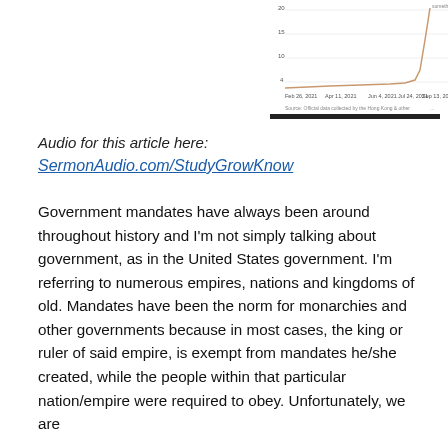[Figure (continuous-plot): A line chart showing a sharply rising line near the right end, with dates along the x-axis (Feb 26, 2021 through Sep 13, 2021) and numeric y-axis values (approximately 4, 10, 15, 20). The line spikes upward dramatically near the end of the time range. A dark horizontal bar appears at the bottom of the chart area.]
Audio for this article here:
SermonAudio.com/StudyGrowKnow
Government mandates have always been around throughout history and I'm not simply talking about government, as in the United States government. I'm referring to numerous empires, nations and kingdoms of old. Mandates have been the norm for monarchies and other governments because in most cases, the king or ruler of said empire, is exempt from mandates he/she created, while the people within that particular nation/empire were required to obey. Unfortunately, we are